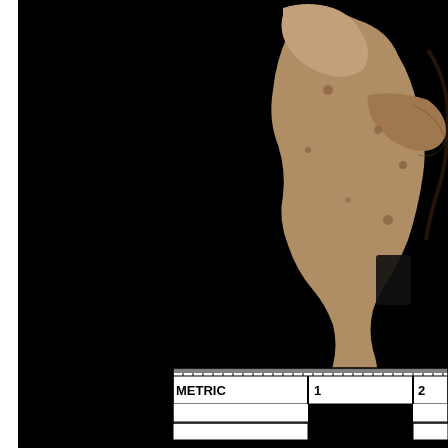[Figure (photo): Archaeological artifact (small ceramic or clay figurine resembling an animal, brownish-tan colored with pitted surface) photographed against a black background, with a metric scale bar at the bottom showing measurements from 0 to beyond 2 cm. The scale bar is white and black with 'METRIC 1' and '2' labels visible.]